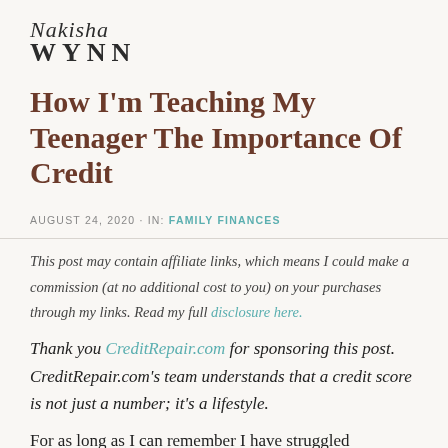Nakisha WYNN
How I'm Teaching My Teenager The Importance Of Credit
AUGUST 24, 2020 · IN: FAMILY FINANCES
This post may contain affiliate links, which means I could make a commission (at no additional cost to you) on your purchases through my links. Read my full disclosure here.
Thank you CreditRepair.com for sponsoring this post. CreditRepair.com's team understands that a credit score is not just a number; it's a lifestyle.
For as long as I can remember I have struggled